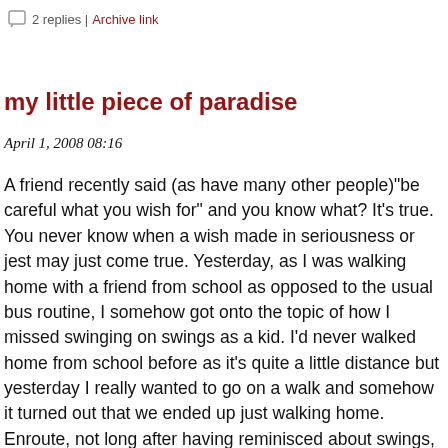2 replies | Archive link
my little piece of paradise
April 1, 2008 08:16
A friend recently said (as have many other people)"be careful what you wish for" and you know what? It's true. You never know when a wish made in seriousness or jest may just come true. Yesterday, as I was walking home with a friend from school as opposed to the usual bus routine, I somehow got onto the topic of how I missed swinging on swings as a kid. I'd never walked home from school before as it's quite a little distance but yesterday I really wanted to go on a walk and somehow it turned out that we ended up just walking home. Enroute, not long after having reminisced about swings, a park appeared before my eyes and in it, a swing set! I honestly can't remember the last time I was on a swing set and it was such an awesome feeling to get on the swing